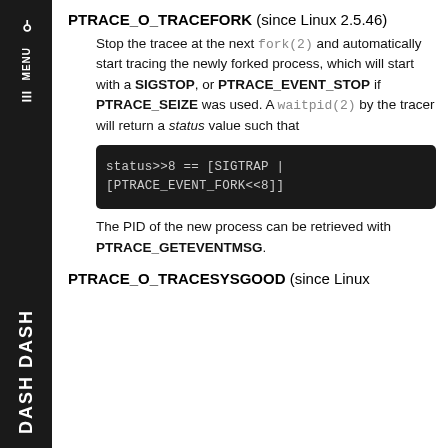PTRACE_O_TRACEFORK (since Linux 2.5.46)
Stop the tracee at the next fork(2) and automatically start tracing the newly forked process, which will start with a SIGSTOP, or PTRACE_EVENT_STOP if PTRACE_SEIZE was used. A waitpid(2) by the tracer will return a status value such that
The PID of the new process can be retrieved with PTRACE_GETEVENTMSG.
PTRACE_O_TRACESYSGOOD (since Linux